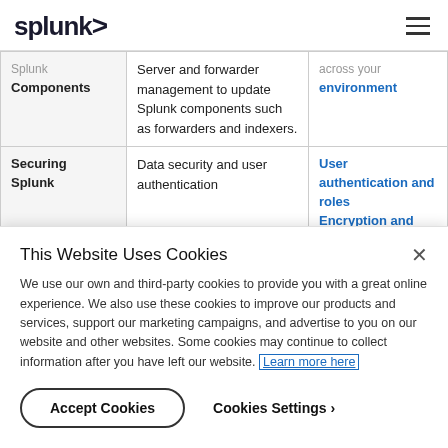splunk>
| Splunk Components | Server and forwarder management to update Splunk components such as forwarders and indexers. | across your environment |
| Securing Splunk | Data security and user authentication | User authentication and roles Encryption and |
This Website Uses Cookies
We use our own and third-party cookies to provide you with a great online experience. We also use these cookies to improve our products and services, support our marketing campaigns, and advertise to you on our website and other websites. Some cookies may continue to collect information after you have left our website. Learn more here
Accept Cookies   Cookies Settings ›